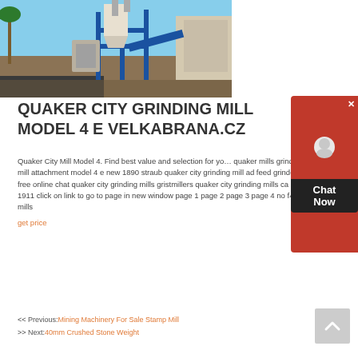[Figure (photo): Industrial grinding mill facility with blue steel framework, conveyor belts, silos/hoppers, and a palm tree visible on the left. The mill machinery is set on a dirt/gravel surface outdoors.]
QUAKER CITY GRINDING MILL MODEL 4 E VELKABRANA.CZ
Quaker City Mill Model 4. Find best value and selection for you quaker mills grinding mill attachment model 4 e new 1890 straub quaker city grinding mill ad feed grinder free online chat quaker city grinding mills gristmillers quaker city grinding mills ca 1911 click on link to go to page in new window page 1 page 2 page 3 page 4 no f4 mills
get price
<< Previous:Mining Machinery For Sale Stamp Mill
>> Next:40mm Crushed Stone Weight